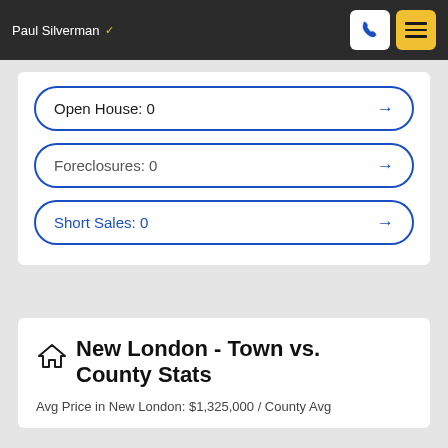Paul Silverman
Open House: 0
Foreclosures: 0
Short Sales: 0
New London - Town vs. County Stats
Avg Price in New London: $1,325,000 / County Avg